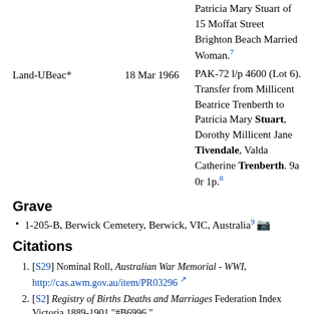Patricia Mary Stuart of 15 Moffat Street Brighton Beach Married Woman.7
Land-UBeac*  18 Mar 1966  PAK-72 l/p 4600 (Lot 6). Transfer from Millicent Beatrice Trenberth to Patricia Mary Stuart, Dorothy Millicent Jane Tivendale, Valda Catherine Trenberth. 9a 0r 1p.8
Grave
1-205-B, Berwick Cemetery, Berwick, VIC, Australia9
Citations
1. [S29] Nominal Roll, Australian War Memorial - WWI, http://cas.awm.gov.au/item/PR03296
2. [S2] Registry of Births Deaths and Marriages Federation Index Victoria 1889-1901 "#B6996."
3. [S5] Registry of Births Deaths and Marriages Death Index Victoria 1921-1985 "#D11421 age 81 [par Elisha TRENBERTH & Jane Hattam SAMPSON]."